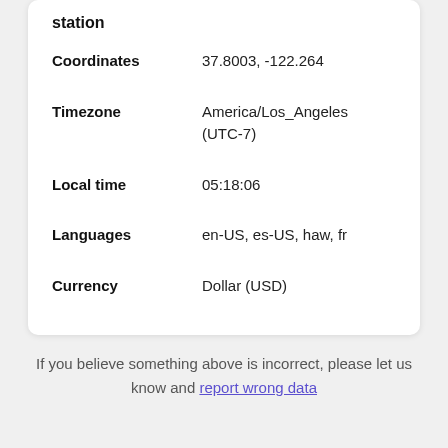station
| Field | Value |
| --- | --- |
| Coordinates | 37.8003, -122.264 |
| Timezone | America/Los_Angeles (UTC-7) |
| Local time | 05:18:06 |
| Languages | en-US, es-US, haw, fr |
| Currency | Dollar (USD) |
If you believe something above is incorrect, please let us know and report wrong data